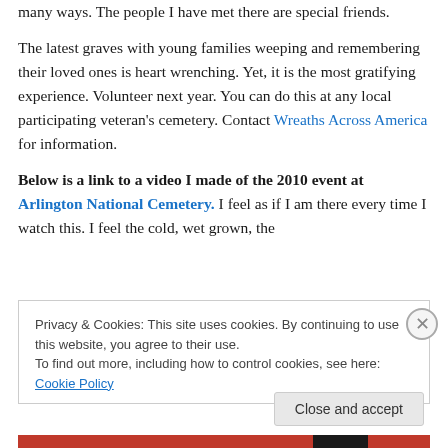many ways. The people I have met there are special friends.
The latest graves with young families weeping and remembering their loved ones is heart wrenching. Yet, it is the most gratifying experience. Volunteer next year. You can do this at any local participating veteran's cemetery. Contact Wreaths Across America for information.
Below is a link to a video I made of the 2010 event at Arlington National Cemetery. I feel as if I am there every time I watch this. I feel the cold, wet grown, the
Privacy & Cookies: This site uses cookies. By continuing to use this website, you agree to their use.
To find out more, including how to control cookies, see here: Cookie Policy
Close and accept